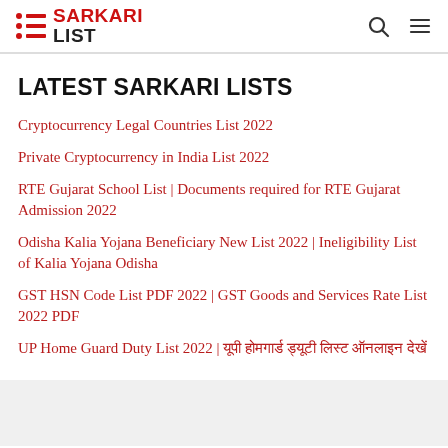SARKARI LIST
LATEST SARKARI LISTS
Cryptocurrency Legal Countries List 2022
Private Cryptocurrency in India List 2022
RTE Gujarat School List | Documents required for RTE Gujarat Admission 2022
Odisha Kalia Yojana Beneficiary New List 2022 | Ineligibility List of Kalia Yojana Odisha
GST HSN Code List PDF 2022 | GST Goods and Services Rate List 2022 PDF
UP Home Guard Duty List 2022 | यूपी होमगार्ड ड्यूटी लिस्ट ऑनलाइन देखें